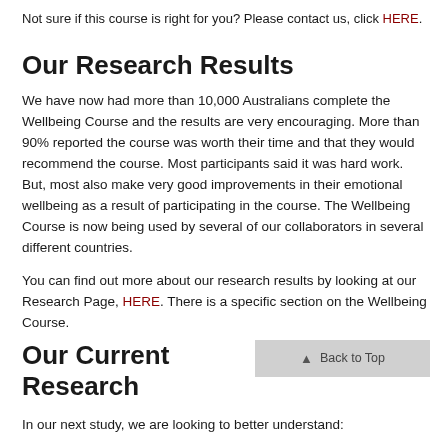Not sure if this course is right for you? Please contact us, click HERE.
Our Research Results
We have now had more than 10,000 Australians complete the Wellbeing Course and the results are very encouraging. More than 90% reported the course was worth their time and that they would recommend the course. Most participants said it was hard work. But, most also make very good improvements in their emotional wellbeing as a result of participating in the course. The Wellbeing Course is now being used by several of our collaborators in several different countries.
You can find out more about our research results by looking at our Research Page, HERE. There is a specific section on the Wellbeing Course.
Our Current Research
In our next study, we are looking to better understand: